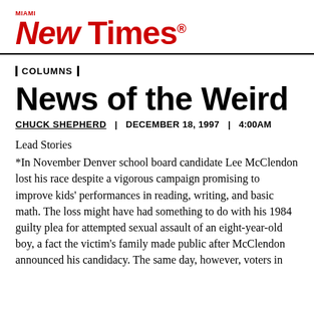[Figure (logo): Miami New Times logo in red, with 'MIAMI' in small text above 'New Times' in large bold italic/serif combined logotype with registered trademark symbol]
| COLUMNS |
News of the Weird
CHUCK SHEPHERD  |  DECEMBER 18, 1997  |  4:00AM
Lead Stories
*In November Denver school board candidate Lee McClendon lost his race despite a vigorous campaign promising to improve kids' performances in reading, writing, and basic math. The loss might have had something to do with his 1984 guilty plea for attempted sexual assault of an eight-year-old boy, a fact the victim's family made public after McClendon announced his candidacy. The same day, however, voters in